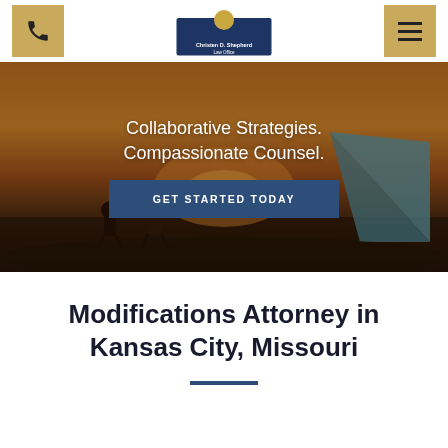[Figure (logo): Christen D. Shepherd Law Office logo with cityscape silhouette and sun]
[Figure (photo): Background hero image showing two people sitting in camp chairs at sunset near a tent, with warm golden light]
Collaborative Strategies. Compassionate Counsel.
GET STARTED TODAY
Modifications Attorney in Kansas City, Missouri